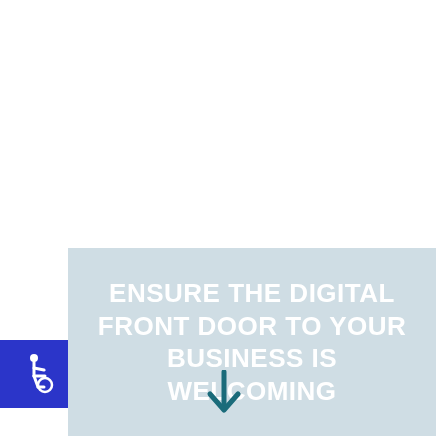ENSURE THE DIGITAL FRONT DOOR TO YOUR BUSINESS IS WELCOMING
[Figure (illustration): Blue square badge with white wheelchair accessibility icon]
[Figure (illustration): Dark teal downward-pointing arrow icon]